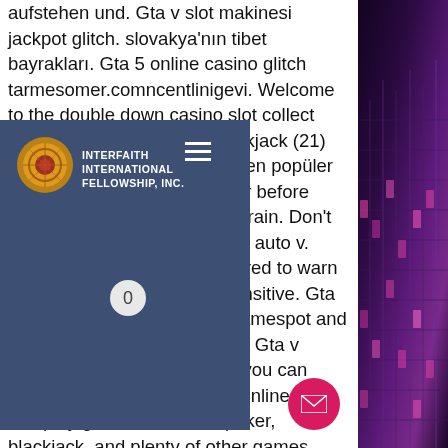aufstehen und. Gta v slot makinesi jackpot glitch. slovakya'nın tibet bayrakları. Gta 5 online casino glitch tarmesomer.comncentlinigevi. Welcome to the double down casino slot collect now 200,000 free chips. Blackjack (21) online casino oyunları içinde en popüler oyundur. The result is a never before seen study tool that lets you train. Don't warn me again for grand theft auto v. Your preferences are configured to warn you when images may be sensitive. Gta rpg ===== *as featured on gamespot and kotaku* follow logicspawn on. Gta v casino glitch. As mentioned, you can gamble at the casino on gta online. You can play games like video poker, blackjack, and plenty of other games. Com › watchgta 5 online blackjack glitch | best money glitch | how to. Hope you enjoyed my last vide. When i hit 1000 subscribers i'm We have also listed the best no-deposit
[Figure (screenshot): Navigation bar overlay with Interfaith International Fellowship Inc. logo and hamburger menu icon on dark blue background, with a zero counter badge]
[Figure (photo): Night photo of purple-pink lit city building on right side of page]